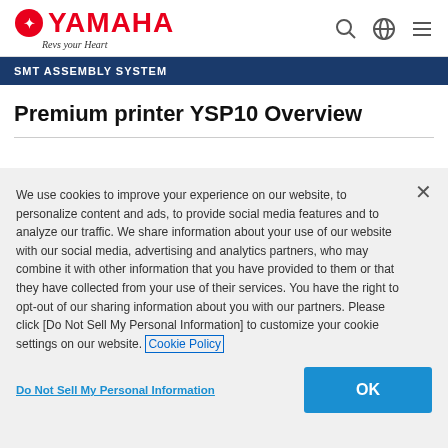YAMAHA Revs Your Heart
SMT ASSEMBLY SYSTEM
Premium printer YSP10 Overview
We use cookies to improve your experience on our website, to personalize content and ads, to provide social media features and to analyze our traffic. We share information about your use of our website with our social media, advertising and analytics partners, who may combine it with other information that you have provided to them or that they have collected from your use of their services. You have the right to opt-out of our sharing information about you with our partners. Please click [Do Not Sell My Personal Information] to customize your cookie settings on our website. Cookie Policy
Do Not Sell My Personal Information
OK